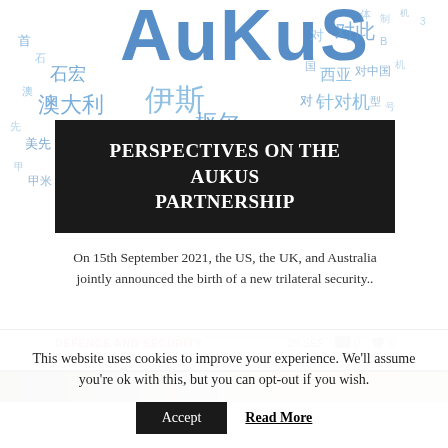[Figure (illustration): Word cloud in blue hues containing Chinese characters and English text 'AUKUS', related to the AUKUS partnership topic]
PERSPECTIVES ON THE AUKUS PARTNERSHIP
On 15th September 2021, the US, the UK, and Australia jointly announced the birth of a new trilateral security..
DEFENCE AND SECURITY   29 SEP   0   0
[Figure (photo): Partial thumbnail of a second article image, brownish tones]
This website uses cookies to improve your experience. We'll assume you're ok with this, but you can opt-out if you wish.
Accept   Read More